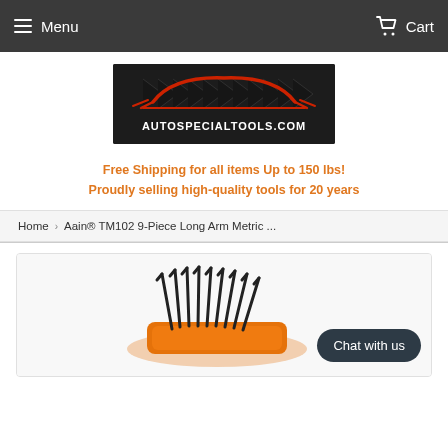Menu  Cart
[Figure (logo): AutoSpecialTools.com logo — dark background with red car silhouette and tire tread, white text reading AUTOSPECIALTOOLS.COM]
Free Shipping for all items Up to 150 lbs!
Proudly selling high-quality tools for 20 years
Home › Aain® TM102 9-Piece Long Arm Metric ...
[Figure (photo): Aain TM102 9-Piece Long Arm Metric hex key set with orange holder, black keys fanned out; Chat with us button overlay]